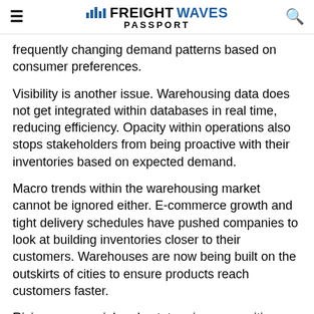FREIGHTWAVES PASSPORT
frequently changing demand patterns based on consumer preferences.
Visibility is another issue. Warehousing data does not get integrated within databases in real time, reducing efficiency. Opacity within operations also stops stakeholders from being proactive with their inventories based on expected demand.
Macro trends within the warehousing market cannot be ignored either. E-commerce growth and tight delivery schedules have pushed companies to look at building inventories closer to their customers. Warehouses are now being built on the outskirts of cities to ensure products reach customers faster.
Rising commercial real estate prices near cities are a